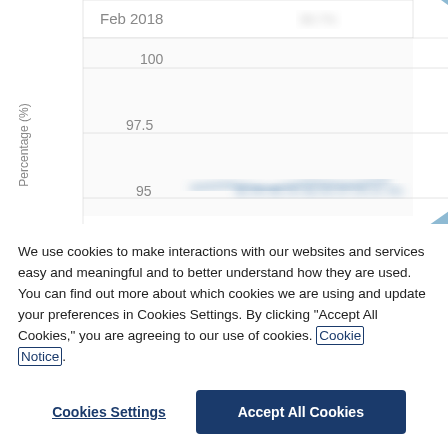[Figure (continuous-plot): Partial line chart showing Percentage (%) on y-axis with values 95, 97.5, 100. X-axis shows time with 'Feb 2018' visible. Chart data is blurred with 'SAMPLE ONLY' watermark ribbons. A blurred line runs near the 95% level.]
We use cookies to make interactions with our websites and services easy and meaningful and to better understand how they are used. You can find out more about which cookies we are using and update your preferences in Cookies Settings. By clicking "Accept All Cookies," you are agreeing to our use of cookies. Cookie Notice.
Cookies Settings
Accept All Cookies